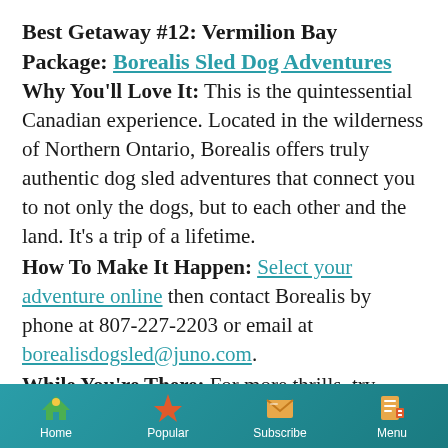Best Getaway #12: Vermilion Bay
Package: Borealis Sled Dog Adventures
Why You'll Love It: This is the quintessential Canadian experience. Located in the wilderness of Northern Ontario, Borealis offers truly authentic dog sled adventures that connect you to not only the dogs, but to each other and the land. It's a trip of a lifetime.
How To Make It Happen: Select your adventure online then contact Borealis by phone at 807-227-2203 or email at borealisdogsled@juno.com.
While You're There: For more thrills, try
Home  Popular  Subscribe  Menu